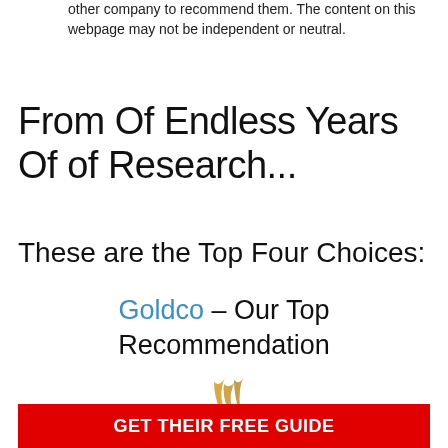other company to recommend them. The content on this webpage may not be independent or neutral.
From Of Endless Years Of of Research...
These are the Top Four Choices:
Goldco – Our Top Recommendation
[Figure (logo): Goldco logo with golden flame swoosh above the word GOLDCO in bold black serif font with registered trademark symbol]
GET THEIR FREE GUIDE